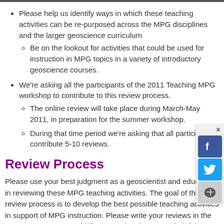Please help us identify ways in which these teaching activities can be re-purposed across the MPG disciplines and the larger geoscience curriculum
Be on the lookout for activities that could be used for instruction in MPG topics in a variety of introductory geoscience courses.
We're asking all the participants of the 2011 Teaching MPG workshop to contribute to this review process.
The online review will take place during March-May 2011, in preparation for the summer workshop.
During that time period we're asking that all participants contribute 5-10 reviews.
Review Process
Please use your best judgment as a geoscientist and educator in reviewing these MPG teaching activities. The goal of this review process is to develop the best possible teaching activities in support of MPG instruction. Please write your reviews in the same manner you would like to receive them, your helpful